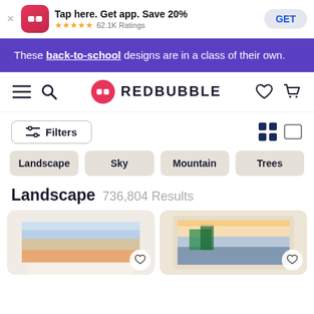[Figure (screenshot): App install banner with Redbubble logo, 'Tap here. Get app. Save 20%', 5 stars, 62.1K Ratings, and GET button]
These back-to-school designs are in a class of their own.
[Figure (logo): Redbubble navigation bar with hamburger menu, search, logo, heart and cart icons]
Filters
Landscape
Sky
Mountain
Trees
Landscape 736,804 Results
[Figure (photo): Two product preview cards partially visible at bottom of page]